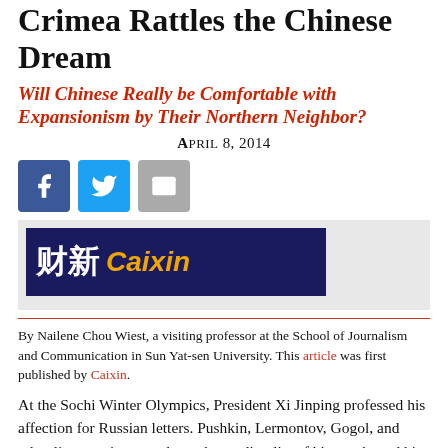Crimea Rattles the Chinese Dream
Will Chinese Really be Comfortable with Expansionism by Their Northern Neighbor?
April 8, 2014
[Figure (infographic): Social media sharing icons: Facebook (blue), Twitter (light blue), Email (gray)]
[Figure (logo): Caixin logo: Chinese characters 财新 in white on dark navy background, followed by 'Caixin' in gold italic text]
By Nailene Chou Wiest, a visiting professor at the School of Journalism and Communication in Sun Yat-sen University. This article was first published by Caixin.
At the Sochi Winter Olympics, President Xi Jinping professed his affection for Russian letters. Pushkin, Lermontov, Gogol, and other literary giants made up the reading list of his youth, and his generation was raised on a diet of Russian culture. Ah, those lovely summer nights when young people crooned Katyusha in Chinese